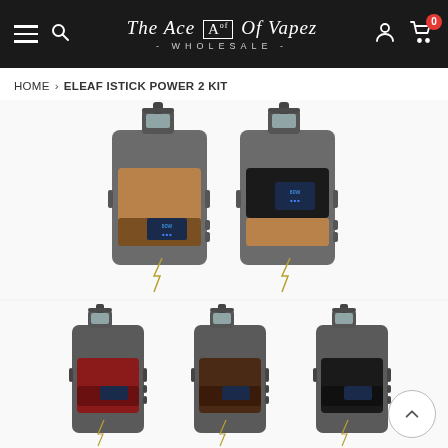The Ace Of Vapez - WHOLESALE -
HOME > ELEAF ISTICK POWER 2 KIT
Sold Out
[Figure (photo): Product photo of Eleaf iStick Power 2 Kit vape devices shown in two color variants (tan/brown and black/tan) side by side, plus three more color variants (red, dark brown, black) shown below in a row.]